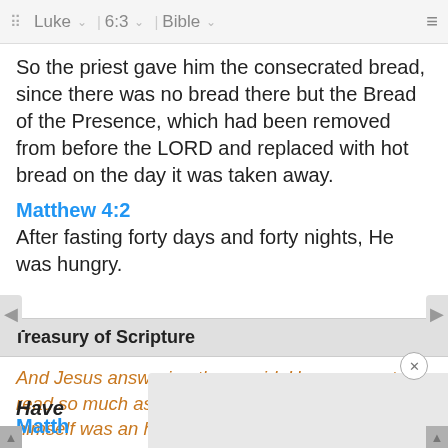⠿ Luke ˅  6:3 ˅  Bible ˅  ≡
So the priest gave him the consecrated bread, since there was no bread there but the Bread of the Presence, which had been removed from before the LORD and replaced with hot bread on the day it was taken away.
Matthew 4:2
After fasting forty days and forty nights, He was hungry.
Treasury of Scripture
And Jesus answering them said, Have you not read so much as this, what David did, when himself was an hungered, and they which were with him;
Have
Matth